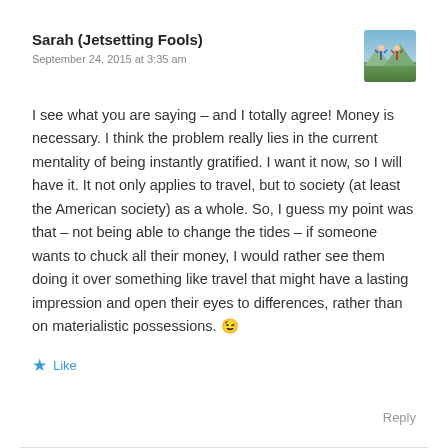Sarah (Jetsetting Fools)
September 24, 2015 at 3:35 am
[Figure (photo): Avatar photo of two people with arms raised against a scenic outdoor background]
I see what you are saying – and I totally agree! Money is necessary. I think the problem really lies in the current mentality of being instantly gratified. I want it now, so I will have it. It not only applies to travel, but to society (at least the American society) as a whole. So, I guess my point was that – not being able to change the tides – if someone wants to chuck all their money, I would rather see them doing it over something like travel that might have a lasting impression and open their eyes to differences, rather than on materialistic possessions. 😉
★ Like
Reply